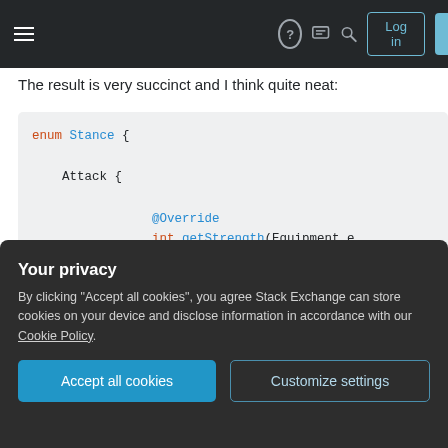Stack Exchange navigation bar with hamburger menu, logo, help, chat, search icons, Log in and Sign up buttons
The result is very succinct and I think quite neat:
[Figure (screenshot): Java code block showing enum Stance with Attack and Defend enum constants, each with @Override annotation and int getStrength(Equipment e) method. Attack returns equipmemt.getAtt..., Defend shows @Override partially visible.]
Your privacy
By clicking "Accept all cookies", you agree Stack Exchange can store cookies on your device and disclose information in accordance with our Cookie Policy.
Accept all cookies   Customize settings